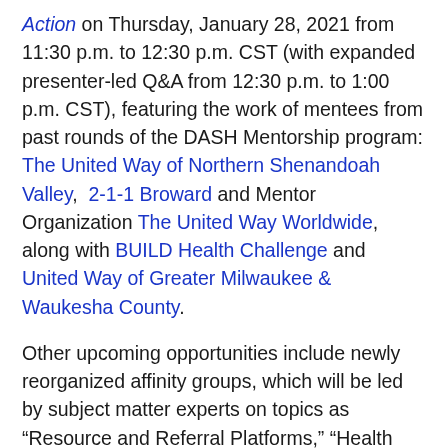Action on Thursday, January 28, 2021 from 11:30 p.m. to 12:30 p.m. CST (with expanded presenter-led Q&A from 12:30 p.m. to 1:00 p.m. CST), featuring the work of mentees from past rounds of the DASH Mentorship program: The United Way of Northern Shenandoah Valley, 2-1-1 Broward and Mentor Organization The United Way Worldwide, along with BUILD Health Challenge and United Way of Greater Milwaukee & Waukesha County.
Other upcoming opportunities include newly reorganized affinity groups, which will be led by subject matter experts on topics as “Resource and Referral Platforms,” “Health and Housing,” “Community Information Exchange” and more.